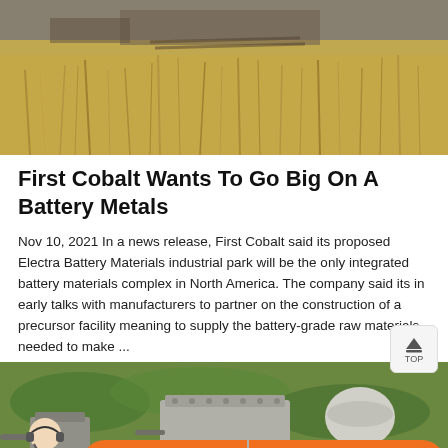[Figure (photo): Aerial or ground-level photo of dry golden grass and overgrown vegetation, likely at an industrial or mining site]
First Cobalt Wants To Go Big On A Battery Metals
Nov 10, 2021 In a news release, First Cobalt said its proposed Electra Battery Materials industrial park will be the only integrated battery materials complex in North America. The company said its in early talks with manufacturers to partner on the construction of a precursor facility meaning to supply the battery-grade raw materials needed to make ...
[Figure (photo): Photo of industrial equipment and tanks at a mining or battery materials processing site, surrounded by green vegetation]
Message
Online Chat